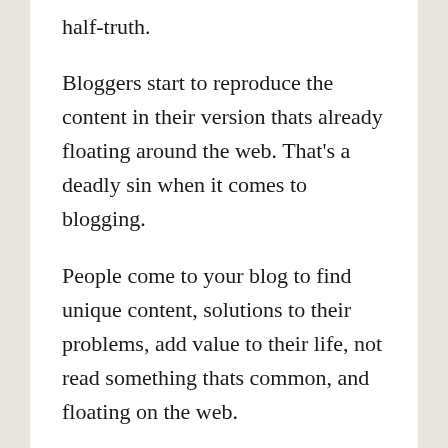half-truth.
Bloggers start to reproduce the content in their version thats already floating around the web. That's a deadly sin when it comes to blogging.
People come to your blog to find unique content, solutions to their problems, add value to their life, not read something thats common, and floating on the web.
And that's what keeps many bloggers away from building a loyal audience b…